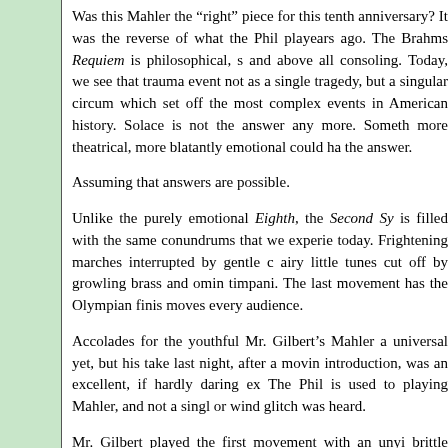Was this Mahler the “right” piece for this tenth anniversary? It was the reverse of what the Phil played years ago. The Brahms Requiem is philosophical, s... and above all consoling. Today, we see that trauma as an event not as a single tragedy, but a singular circumstance which set off the most complex events in American history. Solace is not the answer any more. Something more theatrical, more blatantly emotional could have been the answer.
Assuming that answers are possible.
Unlike the purely emotional Eighth, the Second Symphony is filled with the same conundrums that we experience today. Frightening marches interrupted by gentle chorales, airy little tunes cut off by growling brass and ominous timpani. The last movement has the Olympian finish that moves every audience.
Accolades for the youthful Mr. Gilbert’s Mahler are not universal yet, but his take last night, after a moving introduction, was an excellent, if hardly daring experience. The Phil is used to playing Mahler, and not a single brass or wind glitch was heard.
Mr. Gilbert played the first movement with an unyielding brittle sound, the basses cutting off each measure, the winds not lyrical but sharp. The horn and strings p...